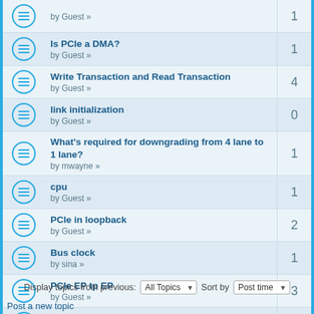Is PCIe a DMA? by Guest » | replies: 1
Write Transaction and Read Transaction by Guest » | replies: 4
link initialization by Guest » | replies: 0
What's required for downgrading from 4 lane to 1 lane? by mwayne » | replies: 1
cpu by Guest » | replies: 1
PCIe in loopback by Guest » | replies: 2
Bus clock by sina » | replies: 1
PCIe EP tp EP by Guest » | replies: 3
rx_st_data0 altera pcie user guide question by kevin » | replies: 0
Display topics from previous: All Topics ▼  Sort by Post time ▼
Post a new topic